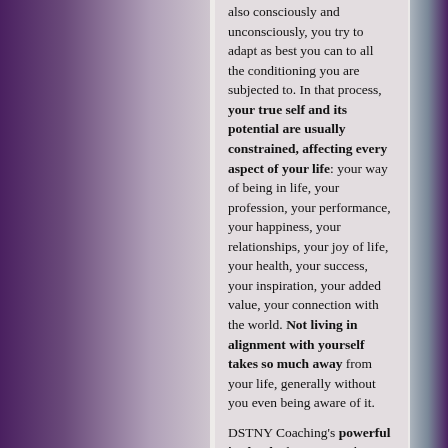also consciously and unconsciously, you try to adapt as best you can to all the conditioning you are subjected to. In that process, your true self and its potential are usually constrained, affecting every aspect of your life: your way of being in life, your profession, your performance, your happiness, your relationships, your joy of life, your health, your success, your inspiration, your added value, your connection with the world. Not living in alignment with yourself takes so much away from your life, generally without you even being aware of it.

DSTNY Coaching's powerful in-depth alignment and performance coaching has proven to directly...